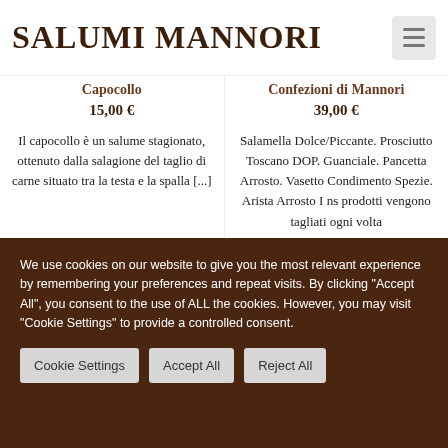SALUMI MANNORI
Capocollo
15,00 €
Confezioni di Mannori
39,00 €
Il capocollo è un salume stagionato, ottenuto dalla salagione del taglio di carne situato tra la testa e la spalla [...]
Salamella Dolce/Piccante. Prosciutto Toscano DOP. Guanciale. Pancetta Arrosto. Vasetto Condimento Spezie. Arista Arrosto I ns prodotti vengono tagliati ogni volta
We use cookies on our website to give you the most relevant experience by remembering your preferences and repeat visits. By clicking "Accept All", you consent to the use of ALL the cookies. However, you may visit "Cookie Settings" to provide a controlled consent.